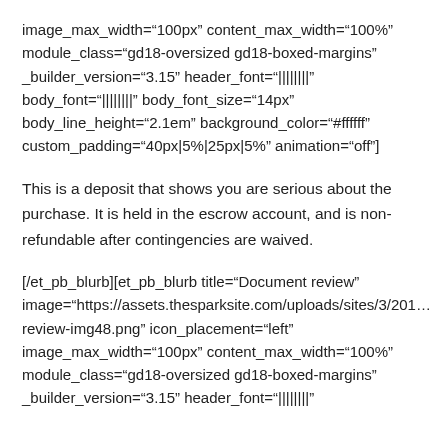image_max_width="100px" content_max_width="100%" module_class="gd18-oversized gd18-boxed-margins" _builder_version="3.15" header_font="||||||||" body_font="||||||||" body_font_size="14px" body_line_height="2.1em" background_color="#ffffff" custom_padding="40px|5%|25px|5%" animation="off"]
This is a deposit that shows you are serious about the purchase. It is held in the escrow account, and is non-refundable after contingencies are waived.
[/et_pb_blurb][et_pb_blurb title="Document review" image="https://assets.thesparksite.com/uploads/sites/3/2018/review-img48.png" icon_placement="left" image_max_width="100px" content_max_width="100%" module_class="gd18-oversized gd18-boxed-margins" _builder_version="3.15" header_font="||||||||"}